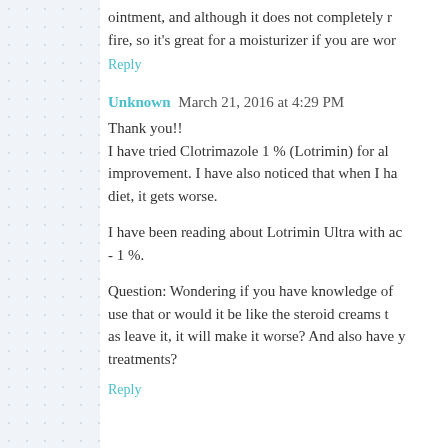ointment, and although it does not completely r... fire, so it's great for a moisturizer if you are wor...
Reply
Unknown March 21, 2016 at 4:29 PM
Thank you!!
I have tried Clotrimazole 1 % (Lotrimin) for al... improvement. I have also noticed that when I ha... diet, it gets worse.
I have been reading about Lotrimin Ultra with ac... - 1 %.
Question: Wondering if you have knowledge of ... use that or would it be like the steroid creams t... as leave it, it will make it worse? And also have y... treatments?
Reply